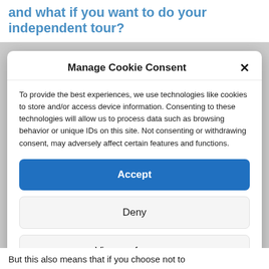and what if you want to do your independent tour?
Manage Cookie Consent
To provide the best experiences, we use technologies like cookies to store and/or access device information. Consenting to these technologies will allow us to process data such as browsing behavior or unique IDs on this site. Not consenting or withdrawing consent, may adversely affect certain features and functions.
Accept
Deny
View preferences
Cookie Policy  Privacy policy
But this also means that if you choose not to